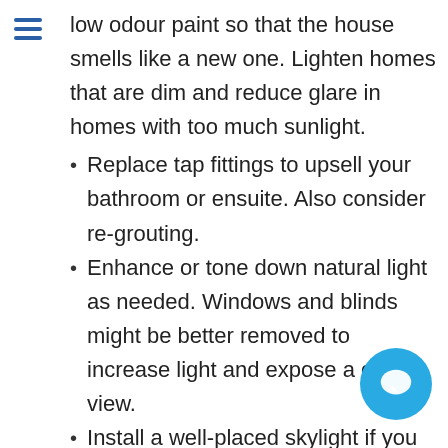low odour paint so that the house smells like a new one. Lighten homes that are dim and reduce glare in homes with too much sunlight.
Replace tap fittings to upsell your bathroom or ensuite. Also consider re-grouting.
Enhance or tone down natural light as needed. Windows and blinds might be better removed to increase light and expose a great view.
Install a well-placed skylight if you have a very dimly lit room which might lower a buyer's mood and opinion of the prope…
Install a split system air-conditioner to